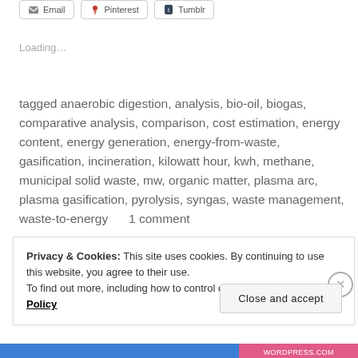[Figure (screenshot): Three share buttons: Email, Pinterest, Tumblr]
Loading...
tagged anaerobic digestion, analysis, bio-oil, biogas, comparative analysis, comparison, cost estimation, energy content, energy generation, energy-from-waste, gasification, incineration, kilowatt hour, kwh, methane, municipal solid waste, mw, organic matter, plasma arc, plasma gasification, pyrolysis, syngas, waste management, waste-to-energy   1 comment
Privacy & Cookies: This site uses cookies. By continuing to use this website, you agree to their use.
To find out more, including how to control cookies, see here: Cookie Policy
Close and accept